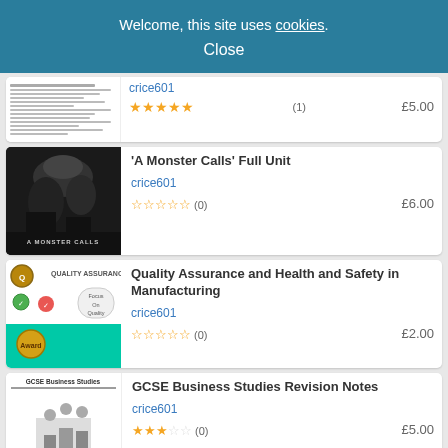Welcome, this site uses cookies.
Close
[Figure (screenshot): Document worksheet thumbnail]
crice601
★★★★★ (1)  £5.00
[Figure (photo): A Monster Calls book cover - dark fantasy image with monster silhouette]
'A Monster Calls' Full Unit
crice601
☆☆☆☆☆ (0)  £6.00
[Figure (screenshot): Quality Assurance thumbnail with teal green background]
Quality Assurance and Health and Safety in Manufacturing
crice601
☆☆☆☆☆ (0)  £2.00
[Figure (screenshot): GCSE Business Studies document thumbnail]
GCSE Business Studies Revision Notes
crice601
★★★☆☆ (0)  £5.00